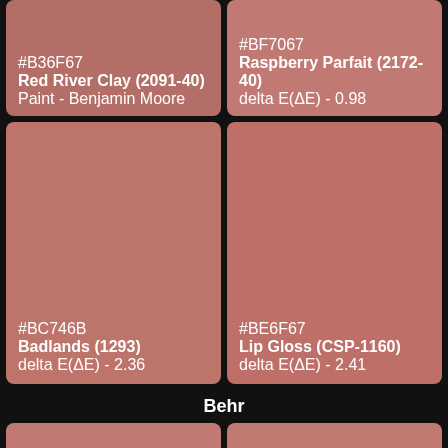[Figure (infographic): Color swatch top-left: #B36F67, Red River Clay (2091-40), Paint - Benjamin Moore]
[Figure (infographic): Color swatch top-right: #BF7067 (partially visible), Raspberry Parfait (2172-40), delta E(ΔE) - 0.98]
[Figure (infographic): Color swatch middle-left: #BC746B, Badlands (1293), delta E(ΔE) - 2.36]
[Figure (infographic): Color swatch middle-right: #BE6F67, Lip Gloss (CSP-1160), delta E(ΔE) - 2.41]
Behr
[Figure (infographic): Color swatch bottom-left (Behr): partial reddish-brown swatch]
[Figure (infographic): Color swatch bottom-right (Behr): partial reddish-brown swatch with CLOSE button]
[Figure (photo): MAC cosmetics advertisement banner showing lipsticks and SHOP NOW button]